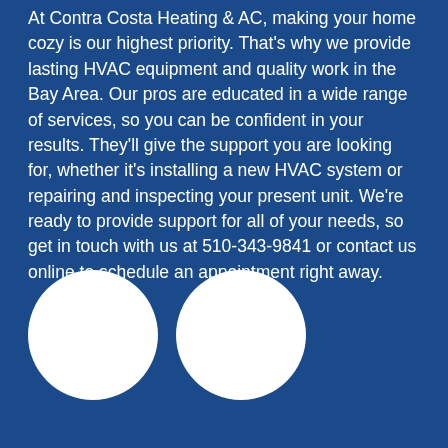At Contra Costa Heating & AC, making your home cozy is our highest priority. That's why we provide lasting HVAC equipment and quality work in the Bay Area. Our pros are educated in a wide range of services, so you can be confident in your results. They'll give the support you are looking for, whether it's installing a new HVAC system or repairing and inspecting your present unit. We're ready to provide support for all of your needs, so get in touch with us at 510-343-9841 or contact us online to schedule an appointment right away.
[Figure (illustration): Two large white circles side by side on a blue background, likely representing profile photo placeholders.]